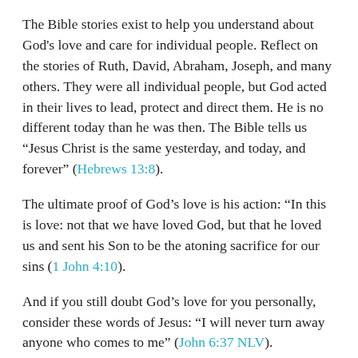The Bible stories exist to help you understand about God's love and care for individual people. Reflect on the stories of Ruth, David, Abraham, Joseph, and many others. They were all individual people, but God acted in their lives to lead, protect and direct them. He is no different today than he was then. The Bible tells us “Jesus Christ is the same yesterday, and today, and forever” (Hebrews 13:8).
The ultimate proof of God’s love is his action: “In this is love: not that we have loved God, but that he loved us and sent his Son to be the atoning sacrifice for our sins (1 John 4:10).
And if you still doubt God’s love for you personally, consider these words of Jesus: “I will never turn away anyone who comes to me” (John 6:37 NLV).
How Can I Be Saved?
“Believe on the Lord Jesus Christ and you will be saved” (Acts